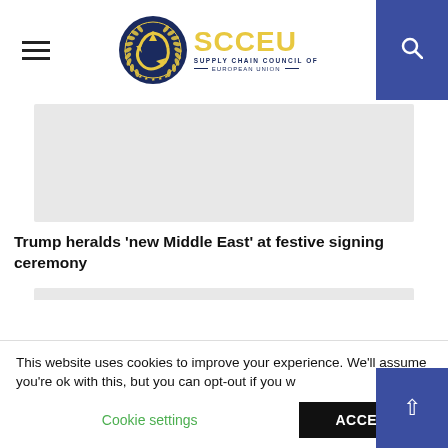SCCEU — Supply Chain Council of European Union
[Figure (other): Gray placeholder image block]
Trump heralds 'new Middle East' at festive signing ceremony
[Figure (other): Gray placeholder image block]
This website uses cookies to improve your experience. We'll assume you're ok with this, but you can opt-out if you w
Cookie settings   ACCEPT